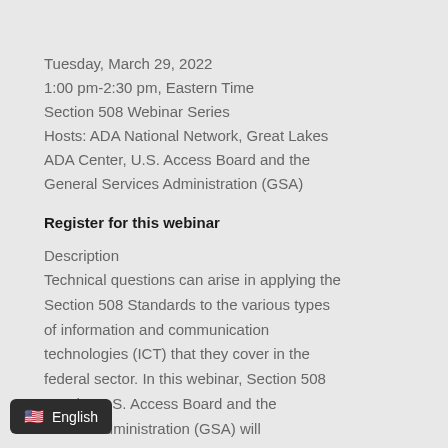Tuesday, March 29, 2022
1:00 pm-2:30 pm, Eastern Time
Section 508 Webinar Series
Hosts: ADA National Network, Great Lakes ADA Center, U.S. Access Board and the General Services Administration (GSA)
Register for this webinar
Description
Technical questions can arise in applying the Section 508 Standards to the various types of information and communication technologies (ICT) that they cover in the federal sector. In this webinar, Section 508 s at the U.S. Access Board and the ervices Administration (GSA) will